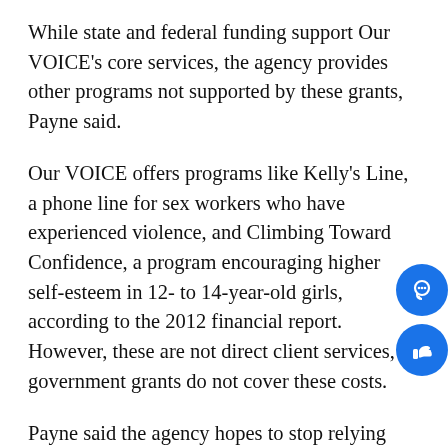While state and federal funding support Our VOICE's core services, the agency provides other programs not supported by these grants, Payne said.
Our VOICE offers programs like Kelly's Line, a phone line for sex workers who have experienced violence, and Climbing Toward Confidence, a program encouraging higher self-esteem in 12- to 14-year-old girls, according to the 2012 financial report. However, these are not direct client services, so government grants do not cover these costs.
Payne said the agency hopes to stop relying heavily on these government grants due to strict regulations.
“The model that we’re moving to is kind of away from this dependence on these larger state and federal grants because they’re very time-consuming in regard to reporting, reimbursement reports, grant